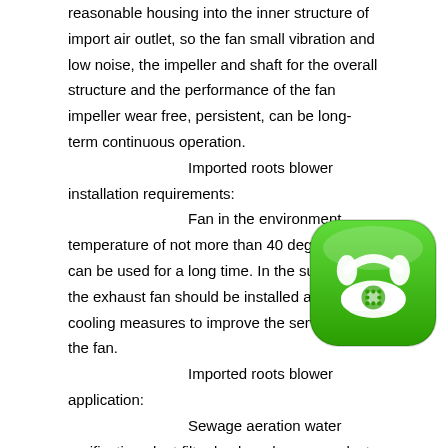reasonable housing into the inner structure of import air outlet, so the fan small vibration and low noise, the impeller and shaft for the overall structure and the performance of the fan impeller wear free, persistent, can be long-term continuous operation.

Imported roots blower installation requirements:

Fan in the environment temperature of not more than 40 degrees C, can be used for a long time. In the summer, the exhaust fan should be installed and other cooling measures to improve the service life of the fan.

Imported roots blower application:

Sewage aeration water purification plant filter backwash vacuum dust removal material conveying

Widely used in various fields for municipal drainage, construction, petroleum, chemical, gas, food, pharmaceutical, power generation, metallurgy, mining, boiler steam system, pressure vessel, atomic energy, aerospace, rockets, and people's daily life. Shanghai Yi butterfly products sell well all over the country, high quality, efficient service, won the trust of users and a
[Figure (logo): Green rounded square icon with a white rotary telephone illustration]